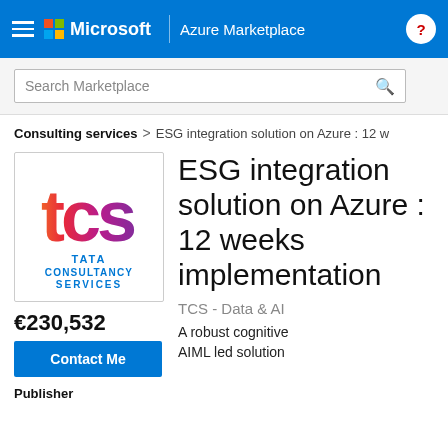Microsoft | Azure Marketplace
Search Marketplace
Consulting services > ESG integration solution on Azure : 12 w
[Figure (logo): TCS - Tata Consultancy Services logo with colorful tcs letters in orange, pink, purple gradient and TATA CONSULTANCY SERVICES text in blue]
€230,532
Contact Me
Publisher
ESG integration solution on Azure : 12 weeks implementation
TCS - Data & AI
A robust cognitive AIML led solution